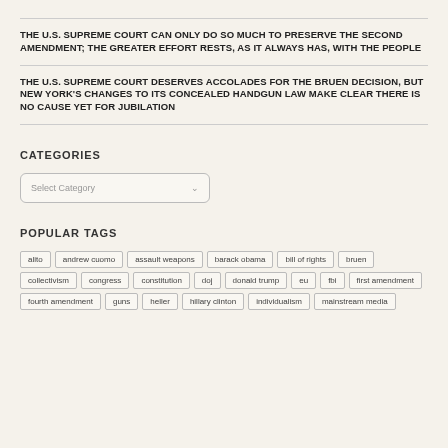THE U.S. SUPREME COURT CAN ONLY DO SO MUCH TO PRESERVE THE SECOND AMENDMENT; THE GREATER EFFORT RESTS, AS IT ALWAYS HAS, WITH THE PEOPLE
THE U.S. SUPREME COURT DESERVES ACCOLADES FOR THE BRUEN DECISION, BUT NEW YORK'S CHANGES TO ITS CONCEALED HANDGUN LAW MAKE CLEAR THERE IS NO CAUSE YET FOR JUBILATION
CATEGORIES
POPULAR TAGS
alito
andrew cuomo
assault weapons
barack obama
bill of rights
bruen
collectivism
congress
constitution
doj
donald trump
eu
fbi
first amendment
fourth amendment
guns
heller
hillary clinton
individualism
mainstream media